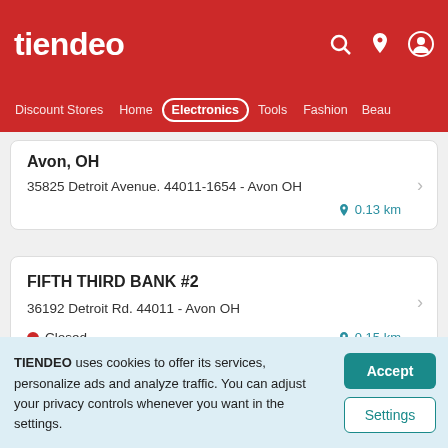tiendeo
Discount Stores  Home  Electronics  Tools  Fashion  Beau
Avon, OH
35825 Detroit Avenue. 44011-1654 - Avon OH
0.13 km
FIFTH THIRD BANK #2
36192 Detroit Rd. 44011 - Avon OH
Closed  0.15 km
TIENDEO uses cookies to offer its services, personalize ads and analyze traffic. You can adjust your privacy controls whenever you want in the settings.